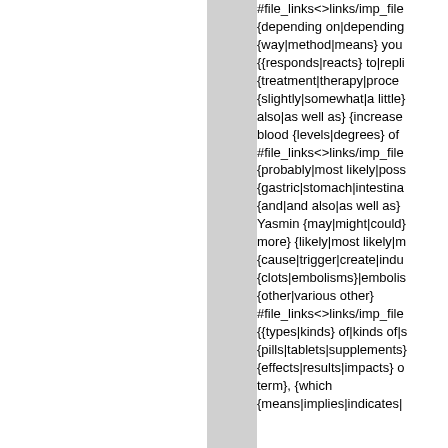#file_links<>links/imp_file {depending on|depending {way|method|means} you {{responds|reacts} to|repli {treatment|therapy|proce {slightly|somewhat|a little} also|as well as} {increase blood {levels|degrees} of #file_links<>links/imp_file {probably|most likely|poss {gastric|stomach|intestina {and|and also|as well as} Yasmin {may|might|could} more} {likely|most likely|m {cause|trigger|create|indu {clots|embolisms}|embolis {other|various other} #file_links<>links/imp_file {{types|kinds} of|kinds of| {pills|tablets|supplements} {effects|results|impacts} o term}, {which {means|implies|indicates|